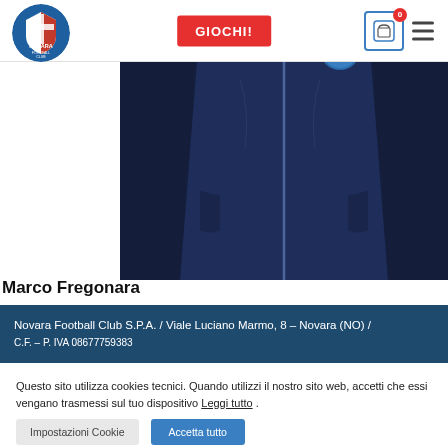[Figure (logo): Novara Football Club circular logo with red and white shield and blue background]
[Figure (screenshot): Navigation bar with GIOCHI! red button, shopping cart icon with 0 badge, and hamburger menu]
[Figure (photo): Close-up photo of a navy blue zip-up sports jacket with a badge on the chest, worn by a person]
Marco Fregonara
Novara Football Club S.P.A. / Viale Luciano Marmo, 8 – Novara (NO) / ...
Questo sito utilizza cookies tecnici. Quando utilizzi il nostro sito web, accetti che essi vengano trasmessi sul tuo dispositivo Leggi tutto .
Impostazioni Cookie
Accetta tutto